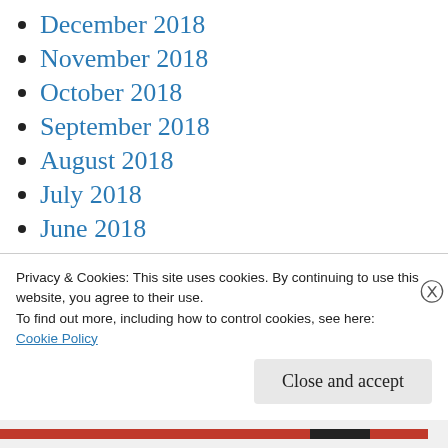December 2018
November 2018
October 2018
September 2018
August 2018
July 2018
June 2018
May 2018
April 2018
February 2018
January 2018
Privacy & Cookies: This site uses cookies. By continuing to use this website, you agree to their use.
To find out more, including how to control cookies, see here:
Cookie Policy
Close and accept